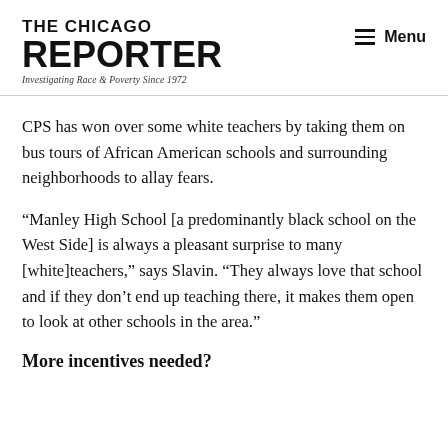THE CHICAGO REPORTER — Investigating Race & Poverty Since 1972 | Menu
CPS has won over some white teachers by taking them on bus tours of African American schools and surrounding neighborhoods to allay fears.
“Manley High School [a predominantly black school on the West Side] is always a pleasant surprise to many [white]teachers,” says Slavin. “They always love that school and if they don’t end up teaching there, it makes them open to look at other schools in the area.”
More incentives needed?